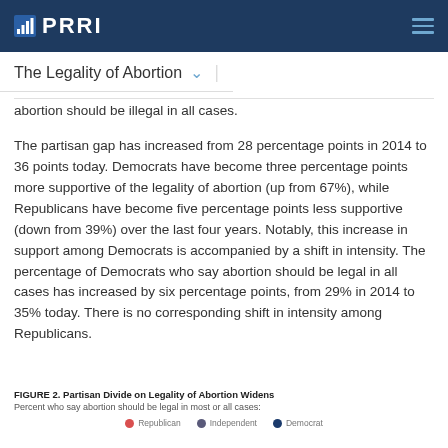PRRI
The Legality of Abortion
abortion should be illegal in all cases.
The partisan gap has increased from 28 percentage points in 2014 to 36 points today. Democrats have become three percentage points more supportive of the legality of abortion (up from 67%), while Republicans have become five percentage points less supportive (down from 39%) over the last four years. Notably, this increase in support among Democrats is accompanied by a shift in intensity. The percentage of Democrats who say abortion should be legal in all cases has increased by six percentage points, from 29% in 2014 to 35% today. There is no corresponding shift in intensity among Republicans.
FIGURE 2. Partisan Divide on Legality of Abortion Widens
Percent who say abortion should be legal in most or all cases:
Republican | Independent | Democrat